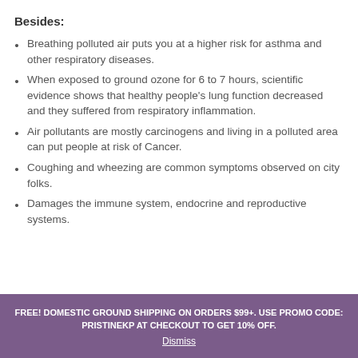Besides:
Breathing polluted air puts you at a higher risk for asthma and other respiratory diseases.
When exposed to ground ozone for 6 to 7 hours, scientific evidence shows that healthy people's lung function decreased and they suffered from respiratory inflammation.
Air pollutants are mostly carcinogens and living in a polluted area can put people at risk of Cancer.
Coughing and wheezing are common symptoms observed on city folks.
Damages the immune system, endocrine and reproductive systems.
FREE! DOMESTIC GROUND SHIPPING ON ORDERS $99+. USE PROMO CODE: PRISTINEKP AT CHECKOUT TO GET 10% OFF. Dismiss